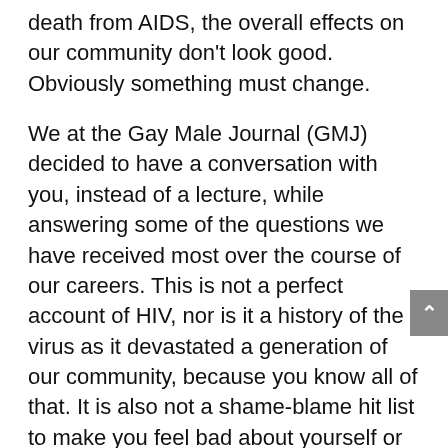death from AIDS, the overall effects on our community don't look good. Obviously something must change.
We at the Gay Male Journal (GMJ) decided to have a conversation with you, instead of a lecture, while answering some of the questions we have received most over the course of our careers. This is not a perfect account of HIV, nor is it a history of the virus as it devastated a generation of our community, because you know all of that. It is also not a shame-blame hit list to make you feel bad about yourself or sexual life. We're just a bunch of guys, sitting around, talking.